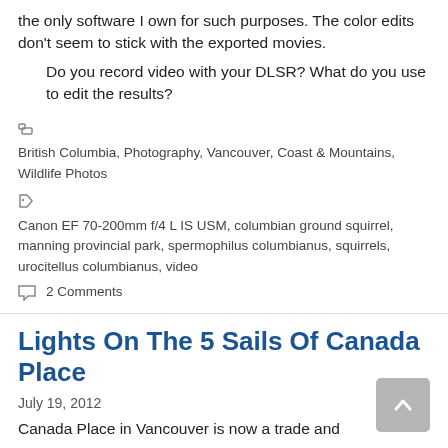the only software I own for such purposes. The color edits don't seem to stick with the exported movies.
Do you record video with your DLSR? What do you use to edit the results?
British Columbia, Photography, Vancouver, Coast & Mountains, Wildlife Photos
Canon EF 70-200mm f/4 L IS USM, columbian ground squirrel, manning provincial park, spermophilus columbianus, squirrels, urocitellus columbianus, video
2 Comments
Lights On The 5 Sails Of Canada Place
July 19, 2012
Canada Place in Vancouver is now a trade and